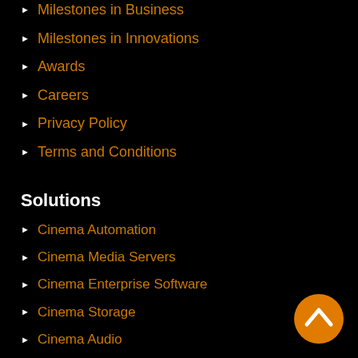Milestones in Business
Milestones in Innovations
Awards
Careers
Privacy Policy
Terms and Conditions
Solutions
Cinema Automation
Cinema Media Servers
Cinema Enterprise Software
Cinema Storage
Cinema Audio
Cinema Projectors
[Figure (illustration): Orange circular back-to-top button with white chevron pointing upward, bottom-right corner]